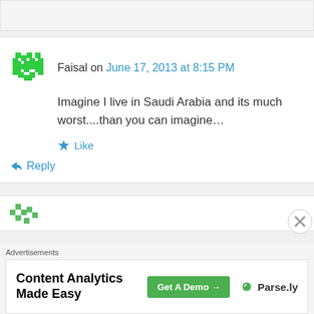Faisal on June 17, 2013 at 8:15 PM
Imagine I live in Saudi Arabia and its much worst....than you can imagine…
Like
Reply
Pingback: Lebanese Girls Are Not Easy To Get | A Separate State of Mind | A Lebanese Blog
Advertisements
Content Analytics Made Easy